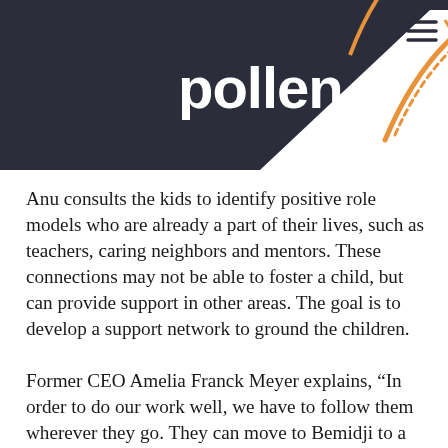pollen
Anu consults the kids to identify positive role models who are already a part of their lives, such as teachers, caring neighbors and mentors. These connections may not be able to foster a child, but can provide support in other areas. The goal is to develop a support network to ground the children.
Former CEO Amelia Franck Meyer explains, “In order to do our work well, we have to follow them wherever they go. They can move to Bemidji to a group home, and we show up there. If they wander away from the group home and they show up in detention in Iowa, we show up there. That’s unheard of in our work. We follow the kids.”